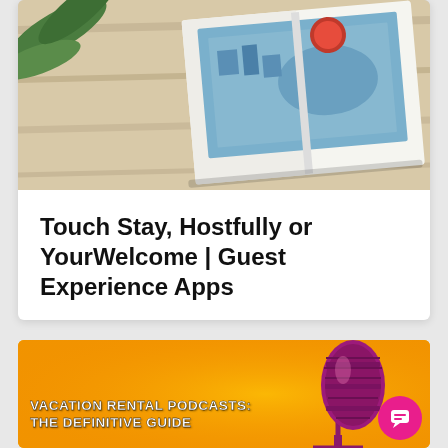[Figure (photo): A travel brochure or guidebook open on a light wood surface, with a green plant leaf visible on the left and a cityscape/aerial view visible on the open page with a red circular badge.]
Touch Stay, Hostfully or YourWelcome | Guest Experience Apps
[Figure (photo): A yellow/golden background with a pink/magenta vintage microphone on the right side. Text overlay reads: VACATION RENTAL PODCASTS: THE DEFINITIVE GUIDE. A pink chat bubble icon is visible in the bottom right corner.]